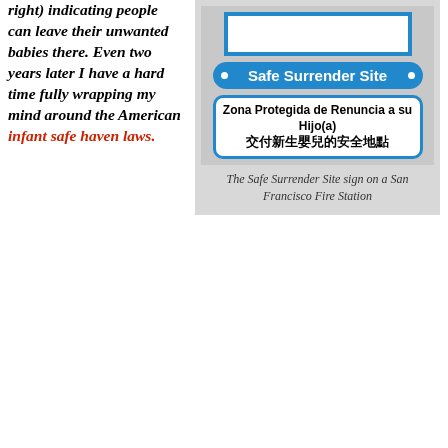right) indicating people can leave their unwanted babies there. Even two years later I have a hard time fully wrapping my mind around the American infant safe haven laws.
[Figure (photo): Photo of a Safe Surrender Site sign on a San Francisco Fire Station, showing blue bordered sign with 'Safe Surrender Site' text, Spanish text 'Zona Protegida de Renuncia a su Hijo(a)' and Chinese characters '交付新生嬰兒的安全地點']
The Safe Surrender Site sign on a San Francisco Fire Station
Many State legislatures have enacted legislation to address infant abandonment and infanticide in response to a reported increase in the abandonment of infants. Beginning in Texas in 1999, infant safe haven laws have been enacted as an incentive for mothers in crisis to safely relinquish their babies to designated locations where the